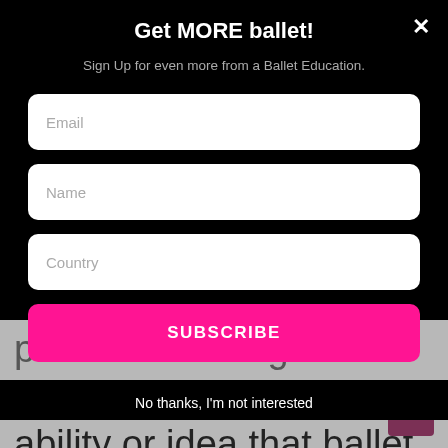Get MORE ballet!
Sign Up for even more from a Ballet Education.
Email
Name
Country
SUBSCRIBE
No thanks, I'm not interested
reflection of a country's ability or idea that ballet should be supported by the state... This is also a reflection of the training in a